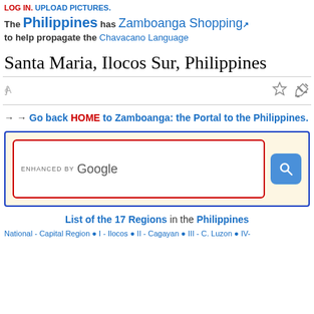LOG IN. UPLOAD PICTURES. The Philippines has Zamboanga Shopping to help propagate the Chavacano Language
Santa Maria, Ilocos Sur, Philippines
→ → Go back HOME to Zamboanga: the Portal to the Philippines.
[Figure (screenshot): Google search box with 'ENHANCED BY Google' text inside a red-bordered input field and a blue search button, all within a yellow-beige box with blue border]
List of the 17 Regions in the Philippines
National - Capital Region ● I - Ilocos ● II - Cagayan ● III - C. Luzon ● IV-